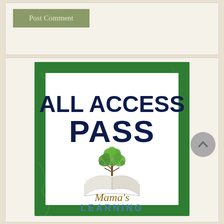[Figure (screenshot): Post Comment button with olive/sage green background and light cream text]
[Figure (logo): All Access Pass logo for Mama's Learning Corner. Dark green marble border frame with white interior. Large bold navy text reading ALL ACCESS PASS. Below is a tree with green leaves growing from an open book. Script text reads Mama's and bold spaced text reads LEARNING.]